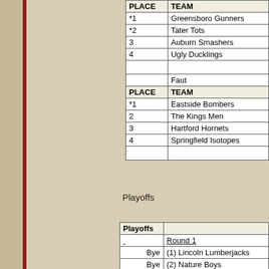| PLACE | TEAM |
| --- | --- |
| *1 | Greensboro Gunners |
| *2 | Tater Tots |
| 3 | Auburn Smashers |
| 4 | Ugly Ducklings |
|  |  |
|  | Faut |
| PLACE | TEAM |
| *1 | Eastside Bombers |
| 2 | The Kings Men |
| 3 | Hartford Hornets |
| 4 | Springfield Isotopes |
|  |  |
Playoffs
| Playoffs |  |
| --- | --- |
|  | Round 1 |
| Bye | (1) Lincoln Lumberjacks |
| Bye | (2) Nature Boys |
|  |  |
|  | (5) Golden Pecker |
| vs. | (4) Eastside Bombers |